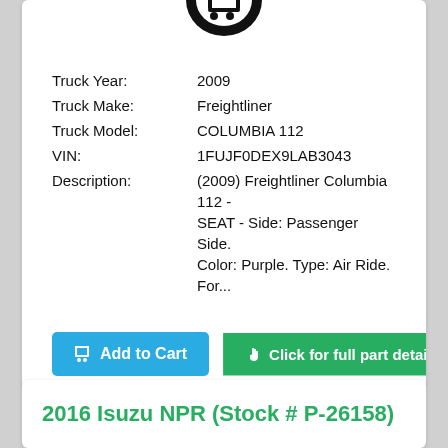[Figure (logo): Partial truck/parts website logo shown at top of card, black icon partially cropped]
Truck Year: 2009
Truck Make: Freightliner
Truck Model: COLUMBIA 112
VIN: 1FUJF0DEX9LAB3043
Description: (2009) Freightliner Columbia 112 - SEAT - Side: Passenger Side. Color: Purple. Type: Air Ride. For...
Add to Cart
Click for full part details
2016 Isuzu NPR (Stock # P-26158)